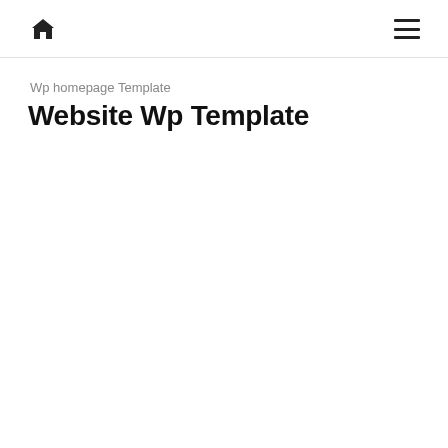home | menu
Wp homepage Template
Website Wp Template